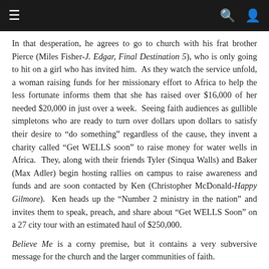Navigation bar with menu, search, and user icons
In that desperation, he agrees to go to church with his frat brother Pierce (Miles Fisher-J. Edgar, Final Destination 5), who is only going to hit on a girl who has invited him.  As they watch the service unfold, a woman raising funds for her missionary effort to Africa to help the less fortunate informs them that she has raised over $16,000 of her needed $20,000 in just over a week.  Seeing faith audiences as gullible simpletons who are ready to turn over dollars upon dollars to satisfy their desire to “do something” regardless of the cause, they invent a charity called “Get WELLS soon” to raise money for water wells in Africa.  They, along with their friends Tyler (Sinqua Walls) and Baker (Max Adler) begin hosting rallies on campus to raise awareness and funds and are soon contacted by Ken (Christopher McDonald-Happy Gilmore).  Ken heads up the “Number 2 ministry in the nation” and invites them to speak, preach, and share about “Get WELLS Soon” on a 27 city tour with an estimated haul of $250,000.
Believe Me is a corny premise, but it contains a very subversive message for the church and the larger communities of faith.